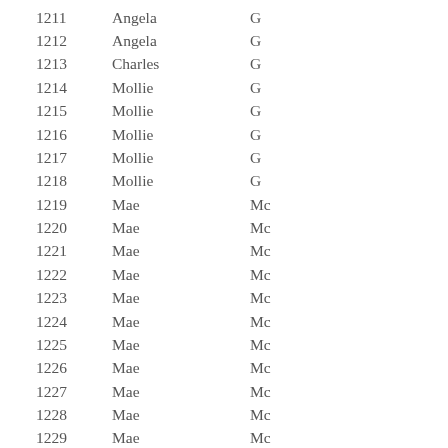| 1211 | Angela | G |
| 1212 | Angela | G |
| 1213 | Charles | G |
| 1214 | Mollie | G |
| 1215 | Mollie | G |
| 1216 | Mollie | G |
| 1217 | Mollie | G |
| 1218 | Mollie | G |
| 1219 | Mae | Mc |
| 1220 | Mae | Mc |
| 1221 | Mae | Mc |
| 1222 | Mae | Mc |
| 1223 | Mae | Mc |
| 1224 | Mae | Mc |
| 1225 | Mae | Mc |
| 1226 | Mae | Mc |
| 1227 | Mae | Mc |
| 1228 | Mae | Mc |
| 1229 | Mae | Mc |
| 1230 | Mae | Mc |
| 1231 | Mae | Mc |
| 1232 | Mae | Mc |
| 1233 | Mae | Mc |
| 1234 | Mae | Mc |